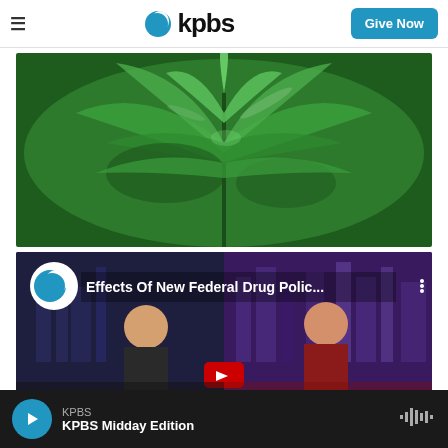KPBS
[Figure (photo): Close-up photo of cannabis/marijuana plant leaves with green foliage against a blurred background]
[Figure (screenshot): Video thumbnail showing KPBS logo and title 'Effects Of New Federal Drug Polic...' with two people in a TV studio setting]
KPBS · KPBS Midday Edition